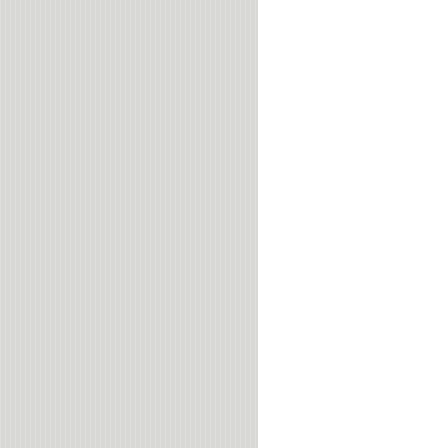[Figure (illustration): Book cover of 'Poppy at Midnight' by April Genevieve Tucholke. Dark background with decorative floral and botanical illustrations including cherries, strawberries, spiderwebs, and flowers. Title text in large white serif font reads 'POPPY MIDNIGHT'. Subtitle: 'A hero. A villain. A liar. Who's who?' Author name at bottom. A 'REGISTER' button overlaid in white text.]
whatever.
Poppy is an only child a She's one of those narc should worship the gro
Midnight lives with his was so annoying, maint